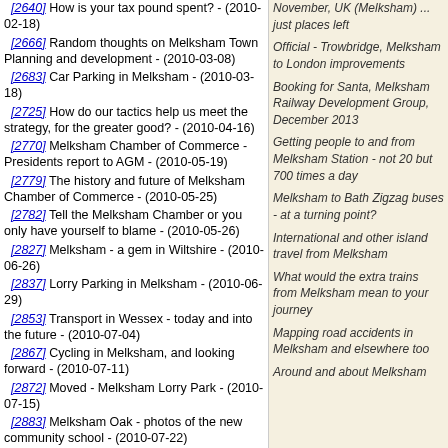[2640] How is your tax pound spent? - (2010-02-18)
[2666] Random thoughts on Melksham Town Planning and development - (2010-03-08)
[2683] Car Parking in Melksham - (2010-03-18)
[2725] How do our tactics help us meet the strategy, for the greater good? - (2010-04-16)
[2770] Melksham Chamber of Commerce - Presidents report to AGM - (2010-05-19)
[2779] The history and future of Melksham Chamber of Commerce - (2010-05-25)
[2782] Tell the Melksham Chamber or you only have yourself to blame - (2010-05-26)
[2827] Melksham - a gem in Wiltshire - (2010-06-26)
[2837] Lorry Parking in Melksham - (2010-06-29)
[2853] Transport in Wessex - today and into the future - (2010-07-04)
[2867] Cycling in Melksham, and looking forward - (2010-07-11)
[2872] Moved - Melksham Lorry Park - (2010-07-15)
[2883] Melksham Oak - photos of the new community school - (2010-07-22)
[2891] Wiltshire Council ask how they can help businesses - (2010-07-27)
[2932] Getting into and out of Wiltshire towns .. a.k.a. Car Parking? - (2010-08-23)
[2957] Welcome to Countrywides new Melksham store - (2010-09-15)
[2959] A Melksham news roundup - (2010-09-18)
[2982] Travel, Transport and Tourism - A vision for Melksham, 2026 - (2010-10-03)
[2995] A river in Melksham is not just for boaters. -
November, UK (Melksham) ... just places left
Official - Trowbridge, Melksham to London improvements
Booking for Santa, Melksham Railway Development Group, December 2013
Getting people to and from Melksham Station - not 20 but 700 times a day
Melksham to Bath Zigzag buses - at a turning point?
International and other island travel from Melksham
What would the extra trains from Melksham mean to your journey
Mapping road accidents in Melksham and elsewhere too
Around and about Melksham